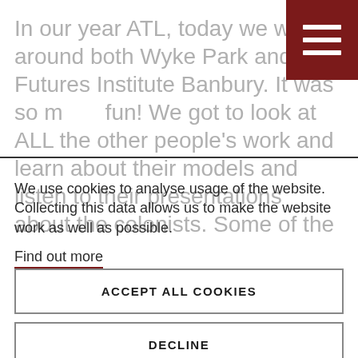In our year ATL, today we went around both Wyke Park and Futures Institute Banbury. It was so much fun! We got to look at ALL the other people's work and learn about their models and listen to their presentations about the colonists. Some of the
We use cookies to analyse usage of the website. Collecting this data allows us to make the website work as well as possible.
Find out more
ACCEPT ALL COOKIES
DECLINE
COOKIE SETTINGS